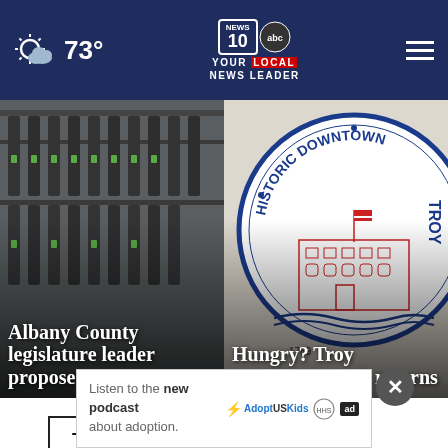73° — News 10 ABC Your Local News Leader
[Figure (photo): Gun store display with multiple firearms hanging on a wall rack with green tags]
Albany County legislature leader proposes gun Law
[Figure (logo): Historic Downtown Troy circular seal/logo showing a building with American flag]
Hungry? Troy restaurant week returns
Top Stories ›
Listen to the new podcast about adoption.
[Figure (logo): Adopt US Kids logo and ad badge]